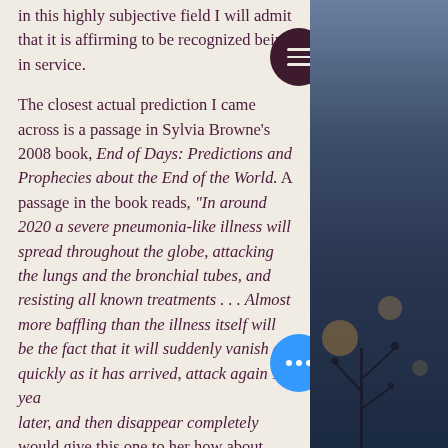in this highly subjective field I will admit that it is affirming to be recognized being in service.
The closest actual prediction I came across is a passage in Sylvia Browne's 2008 book, End of Days: Predictions and Prophecies about the End of the World. A passage in the book reads, "In around 2020 a severe pneumonia-like illness will spread throughout the globe, attacking the lungs and the bronchial tubes, and resisting all known treatments . . . Almost more baffling than the illness itself will be the fact that it will suddenly vanish as quickly as it has arrived, attack again 10 years later, and then disappear completely would give this one to her how about